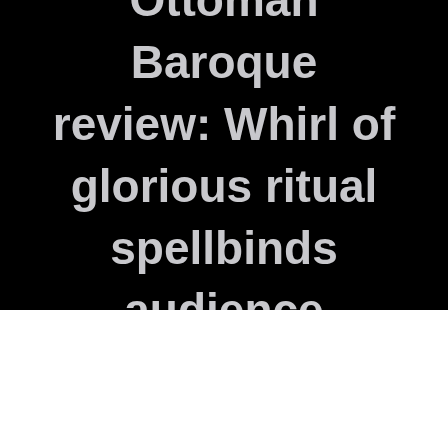Ottoman Baroque review: Whirl of glorious ritual spellbinds audience
[Figure (illustration): A horizontal blue and black abstract decorative bar/divider image]